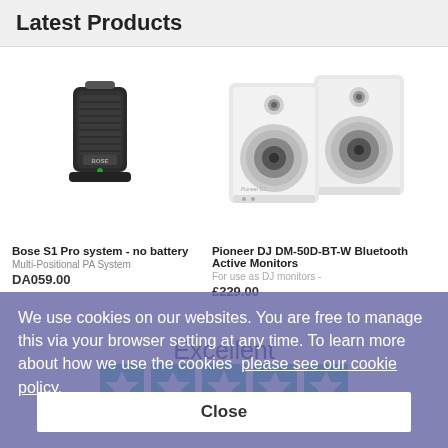Latest Products
[Figure (photo): Bose S1 Pro portable speaker, black, shown on white background]
[Figure (photo): Pioneer DJ DM-50D-BT-W white active monitor speakers, pair shown on white background]
Bose S1 Pro system - no battery
Multi-Positional PA System
DA059.00
Pioneer DJ DM-50D-BT-W Bluetooth Active Monitors
For use as DJ monitors -
£229.00
We use cookies on our websites. You are free to manage this via your browser setting at any time. To learn more about how we use the cookies  please see our cookie policy.
Close
Excellent
Based on 7,188 reviews